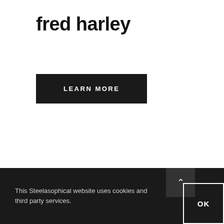fred harley
[Figure (other): Black rectangular button with white uppercase text reading LEARN MORE]
This Steelasophical website uses cookies and third party services.